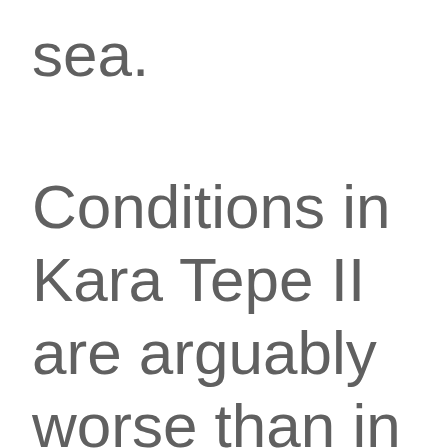sea.
Conditions in Kara Tepe II are arguably worse than in Moria, where the situation